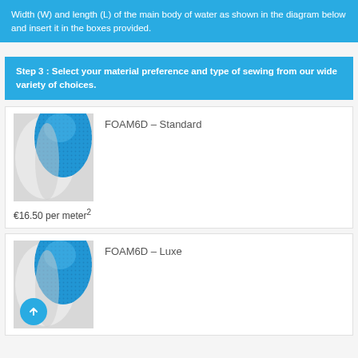Width (W) and length (L) of the main body of water as shown in the diagram below and insert it in the boxes provided.
Step 3 : Select your material preference and type of sewing from our wide variety of choices.
FOAM6D – Standard
[Figure (photo): Photo of rolled foam material with blue textured top and white underside]
€16.50 per meter²
FOAM6D – Luxe
[Figure (photo): Photo of rolled foam material with blue textured top and white underside]